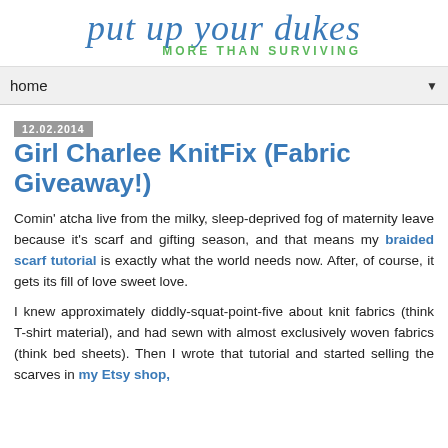put up your dukes MORE THAN SURVIVING
home
12.02.2014
Girl Charlee KnitFix (Fabric Giveaway!)
Comin' atcha live from the milky, sleep-deprived fog of maternity leave because it's scarf and gifting season, and that means my braided scarf tutorial is exactly what the world needs now. After, of course, it gets its fill of love sweet love.
I knew approximately diddly-squat-point-five about knit fabrics (think T-shirt material), and had sewn with almost exclusively woven fabrics (think bed sheets). Then I wrote that tutorial and started selling the scarves in my Etsy shop,